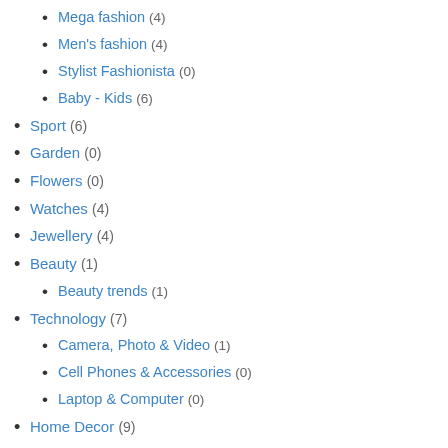Mega fashion (4)
Men's fashion (4)
Stylist Fashionista (0)
Baby - Kids (6)
Sport (6)
Garden (0)
Flowers (0)
Watches (4)
Jewellery (4)
Beauty (1)
Beauty trends (1)
Technology (7)
Camera, Photo & Video (1)
Cell Phones & Accessories (0)
Laptop & Computer (0)
Home Decor (9)
Ceramics (4)